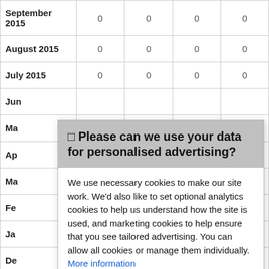|  |  |  |  |  |
| --- | --- | --- | --- | --- |
| September 2015 | 0 | 0 | 0 | 0 |
| August 2015 | 0 | 0 | 0 | 0 |
| July 2015 | 0 | 0 | 0 | 0 |
| Jun… |  |  |  |  |
| Ma… |  |  |  |  |
| Ap… |  |  |  |  |
| Ma… |  |  |  |  |
| Fe… |  |  |  |  |
| Ja… |  |  |  |  |
| De… |  |  |  |  |
| No… |  |  |  |  |
| October 2014 | 1 | 0 | 0 | 0 |
☐ Please can we use your data for personalised advertising?
We use necessary cookies to make our site work. We'd also like to set optional analytics cookies to help us understand how the site is used, and marketing cookies to help ensure that you see tailored advertising. You can allow all cookies or manage them individually. More information